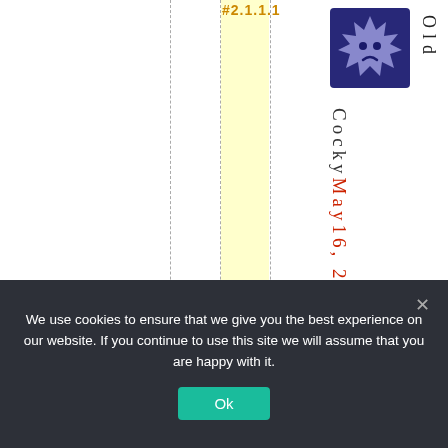#2.1.1.1
[Figure (illustration): Avatar icon: a dark blue square with a spiky star/gear-like character with a frowning face]
Old
CockyMay16, 202
We use cookies to ensure that we give you the best experience on our website. If you continue to use this site we will assume that you are happy with it.
Ok